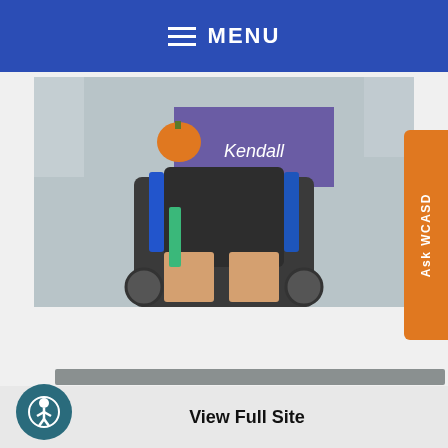MENU
[Figure (photo): Child seated in a wheelchair holding a purple sign with 'Kendall' written on it; a small orange pumpkin is visible on the tray]
Peirce Middle School Competes in Virtual Future Business Leaders of America Competition
View Full Site